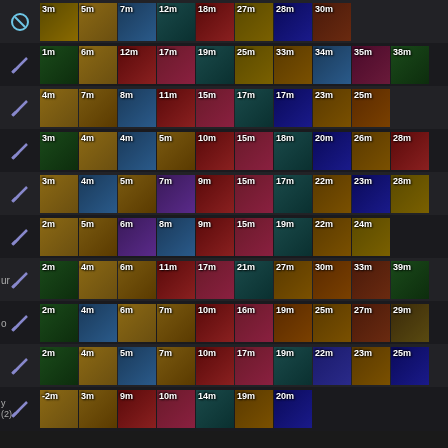[Figure (screenshot): Game item timeline rows showing champion build paths with item icons and time labels in minutes. Each row has a role icon (sword or bow) on the left, followed by item icons with timestamps. Row 1: 3m,5m,7m,12m,18m,27m,28m,30m. Row 2: 1m,6m,12m,17m,19m,25m,33m,34m,35m,38m. Row 3: 4m,7m,8m,11m,15m,17m,17m,23m,25m. Row 4: 3m,4m,4m,5m,10m,15m,18m,20m,26m,28m. Row 5: 3m,4m,5m,7m,9m,15m,17m,22m,23m,28m. Row 6: 2m,5m,6m,8m,9m,15m,19m,22m,24m. Row 7: 2m,4m,6m,11m,17m,21m,27m,30m,33m,39m. Row 8: 2m,4m,6m,7m,10m,16m,19m,25m,27m,29m. Row 9: 2m,4m,5m,7m,10m,17m,19m,22m,23m,25m. Row 10: -2m,3m,9m,10m,14m,19m,20m.]